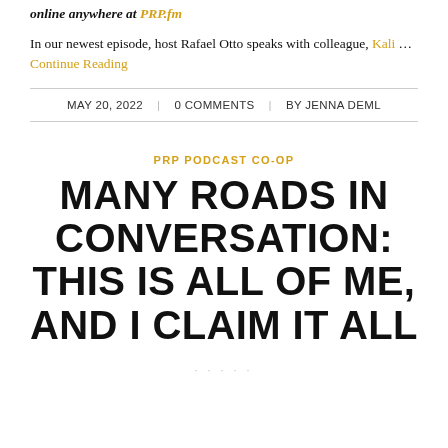online anywhere at PRP.fm
In our newest episode, host Rafael Otto speaks with colleague, Kali … Continue Reading
MAY 20, 2022 | 0 COMMENTS | BY JENNA DEML
PRP PODCAST CO-OP
MANY ROADS IN CONVERSATION: THIS IS ALL OF ME, AND I CLAIM IT ALL